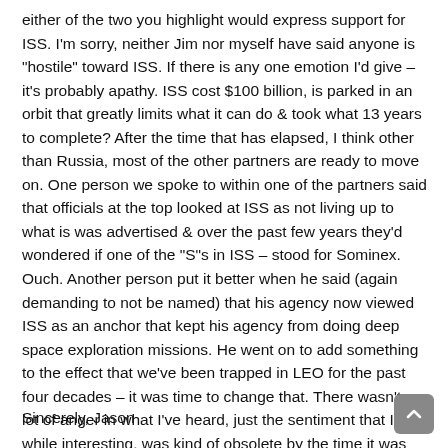either of the two you highlight would express support for ISS. I'm sorry, neither Jim nor myself have said anyone is "hostile" toward ISS. If there is any one emotion I'd give – it's probably apathy. ISS cost $100 billion, is parked in an orbit that greatly limits what it can do & took what 13 years to complete? After the time that has elapsed, I think other than Russia, most of the other partners are ready to move on. One person we spoke to within one of the partners said that officials at the top looked at ISS as not living up to what is was advertised & over the past few years they'd wondered if one of the "S"s in ISS – stood for Sominex. Ouch. Another person put it better when he said (again demanding to not be named) that his agency now viewed ISS as an anchor that kept his agency from doing deep space exploration missions. He went on to add something to the effect that we've been trapped in LEO for the past four decades – it was time to change that. There wasn't a lot of anger in what I've heard, just the sentiment that ISS, while interesting, was kind of obsolete by the time it was completed.
Sincerely, Jason